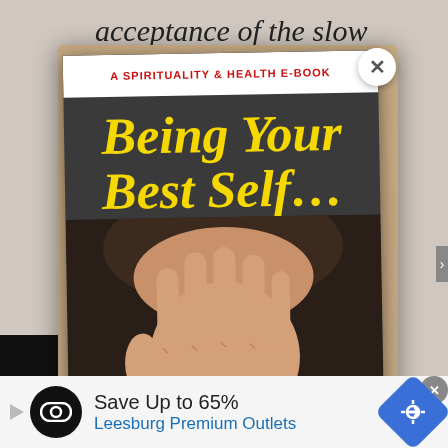acceptance of the slow
[Figure (screenshot): Modal popup showing e-book cover titled 'Being Your Best Self... With Difficult People' — A Spirituality & Health E-Book, with a woman's hand raised against a dark background. Yellow bold italic serif title text on dark grey background. Close (X) button in top right corner of modal.]
A SPIRITUALITY & HEALTH E-BOOK
Being Your Best Self... With Difficult People
[Figure (screenshot): Advertisement banner: Save Up to 65% — Leesburg Premium Outlets. Black circular logo with chain-link icon, blue diamond arrow icon on right, play button on left.]
Save Up to 65%
Leesburg Premium Outlets